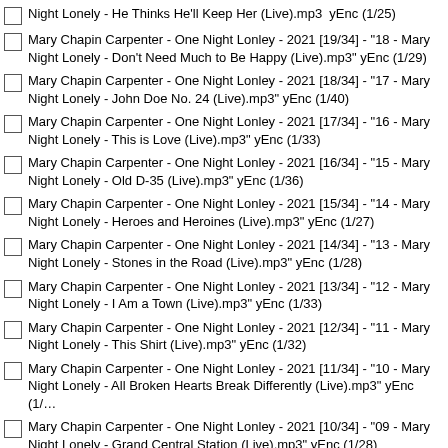Night Lonely - He Thinks He'll Keep Her (Live).mp3  yEnc (1/25)
Mary Chapin Carpenter - One Night Lonley - 2021 [19/34] - "18 - Mary Night Lonely - Don't Need Much to Be Happy (Live).mp3" yEnc (1/29)
Mary Chapin Carpenter - One Night Lonley - 2021 [18/34] - "17 - Mary Night Lonely - John Doe No. 24 (Live).mp3" yEnc (1/40)
Mary Chapin Carpenter - One Night Lonley - 2021 [17/34] - "16 - Mary Night Lonely - This is Love (Live).mp3" yEnc (1/33)
Mary Chapin Carpenter - One Night Lonley - 2021 [16/34] - "15 - Mary Night Lonely - Old D-35 (Live).mp3" yEnc (1/36)
Mary Chapin Carpenter - One Night Lonley - 2021 [15/34] - "14 - Mary Night Lonely - Heroes and Heroines (Live).mp3" yEnc (1/27)
Mary Chapin Carpenter - One Night Lonley - 2021 [14/34] - "13 - Mary Night Lonely - Stones in the Road (Live).mp3" yEnc (1/28)
Mary Chapin Carpenter - One Night Lonley - 2021 [13/34] - "12 - Mary Night Lonely - I Am a Town (Live).mp3" yEnc (1/33)
Mary Chapin Carpenter - One Night Lonley - 2021 [12/34] - "11 - Mary Night Lonely - This Shirt (Live).mp3" yEnc (1/32)
Mary Chapin Carpenter - One Night Lonley - 2021 [11/34] - "10 - Mary Night Lonely - All Broken Hearts Break Differently (Live).mp3" yEnc (1/…)
Mary Chapin Carpenter - One Night Lonley - 2021 [10/34] - "09 - Mary Night Lonely - Grand Central Station (Live).mp3" yEnc (1/28)
Mary Chapin Carpenter - One Night Lonley - 2021 [09/34] - "08 - Mary Night Lonely - I Take My Chances (Live).mp3" yEnc (1/25)
Mary Chapin Carpenter - One Night Lonley - 2021 [08/34] - "07 - Mary Night Lonely - Houston (Live).mp3" yEnc (1/34)
Mary Chapin Carpenter - One Night Lonley - 2021 [07/34] - "06 - Mary Night Lonely - Something Tamed, Something Wild (Live).mp3" yEnc (1/…)